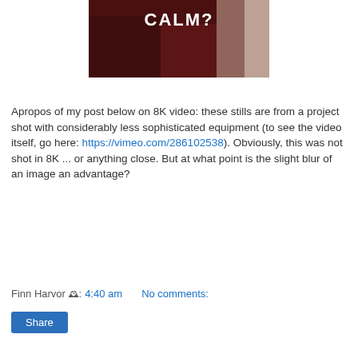[Figure (photo): Dark reddish background image with white text reading 'CALM?' in the center-upper area]
Apropos of my post below on 8K video: these stills are from a project shot with considerably less sophisticated equipment (to see the video itself, go here: https://vimeo.com/286102538). Obviously, this was not shot in 8K ... or anything close. But at what point is the slight blur of an image an advantage?
Finn Harvor 🕰: 4:40 am   No comments:
Share